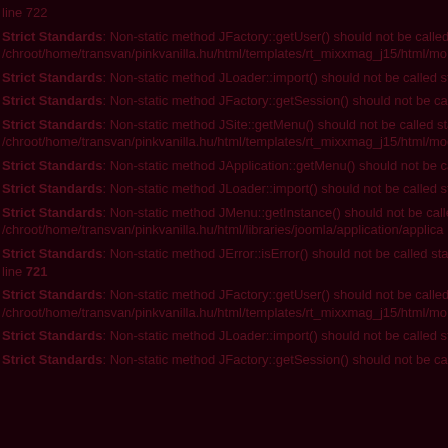line 722
Strict Standards: Non-static method JFactory::getUser() should not be called statically, assuming $this from incompatible context in /chroot/home/transvan/pinkvanilla.hu/html/templates/rt_mixxmag_j15/html/mo...
Strict Standards: Non-static method JLoader::import() should not be called statically in ...
Strict Standards: Non-static method JFactory::getSession() should not be called st...
Strict Standards: Non-static method JSite::getMenu() should not be called statically, assuming $this from incompatible context in /chroot/home/transvan/pinkvanilla.hu/html/templates/rt_mixxmag_j15/html/mod...
Strict Standards: Non-static method JApplication::getMenu() should not be called s...
Strict Standards: Non-static method JLoader::import() should not be called statically...
Strict Standards: Non-static method JMenu::getInstance() should not be called stat... /chroot/home/transvan/pinkvanilla.hu/html/libraries/joomla/application/applica...
Strict Standards: Non-static method JError::isError() should not be called statically... line 721
Strict Standards: Non-static method JFactory::getUser() should not be called statically... /chroot/home/transvan/pinkvanilla.hu/html/templates/rt_mixxmag_j15/html/mo...
Strict Standards: Non-static method JLoader::import() should not be called statically...
Strict Standards: Non-static method JFactory::getSession() should not be called st...